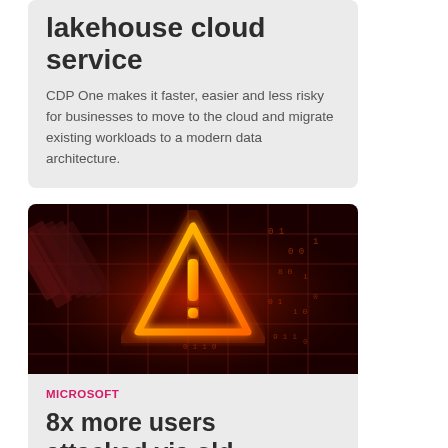lakehouse cloud service
CDP One makes it faster, easier and less risky for businesses to move to the cloud and migrate existing workloads to a modern data architecture.
[Figure (photo): Dark red digital binary background with a glowing orange warning triangle exclamation mark sign]
MICROSOFT
8x more users attacked via old